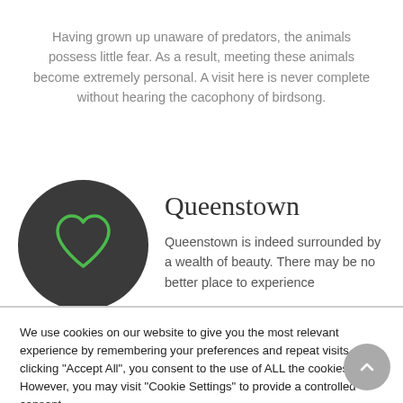Having grown up unaware of predators, the animals possess little fear. As a result, meeting these animals become extremely personal. A visit here is never complete without hearing the cacophony of birdsong.
[Figure (illustration): Dark circular icon with a green heart outline on a dark grey/charcoal background]
Queenstown
Queenstown is indeed surrounded by a wealth of beauty. There may be no better place to experience
We use cookies on our website to give you the most relevant experience by remembering your preferences and repeat visits. By clicking "Accept All", you consent to the use of ALL the cookies. However, you may visit "Cookie Settings" to provide a controlled consent.